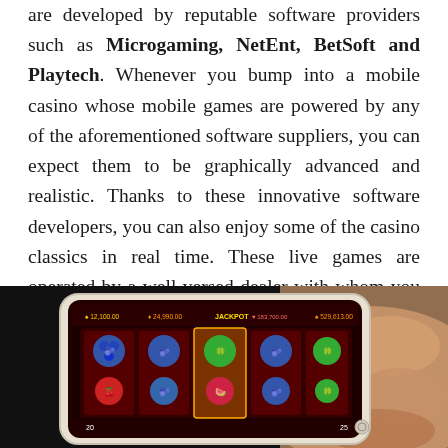are developed by reputable software providers such as Microgaming, NetEnt, BetSoft and Playtech. Whenever you bump into a mobile casino whose mobile games are powered by any of the aforementioned software suppliers, you can expect them to be graphically advanced and realistic. Thanks to these innovative software developers, you can also enjoy some of the casino classics in real time. These live games are operated by a well-versed dealer with whom you can even interact during the gaming process via the live chat feature.
[Figure (photo): A hand holding a smartphone displaying a slot machine casino game app with colorful fruit symbols and jackpot counter displayed at the top of the screen.]